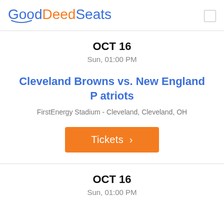GoodDeedSeats
OCT 16
Sun, 01:00 PM
Cleveland Browns vs. New England Patriots
FirstEnergy Stadium - Cleveland, Cleveland, OH
Tickets >
OCT 16
Sun, 01:00 PM